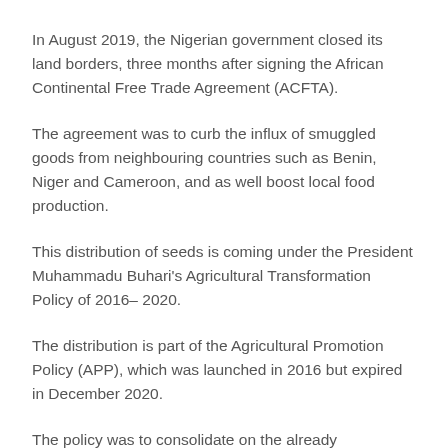In August 2019, the Nigerian government closed its land borders, three months after signing the African Continental Free Trade Agreement (ACFTA).
The agreement was to curb the influx of smuggled goods from neighbouring countries such as Benin, Niger and Cameroon, and as well boost local food production.
This distribution of seeds is coming under the President Muhammadu Buhari's Agricultural Transformation Policy of 2016– 2020.
The distribution is part of the Agricultural Promotion Policy (APP), which was launched in 2016 but expired in December 2020.
The policy was to consolidate on the already established